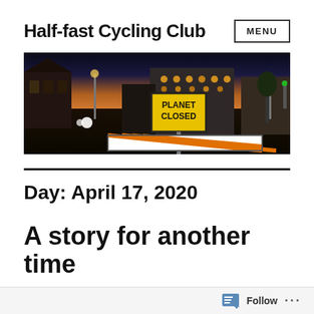Half-fast Cycling Club
[Figure (photo): A nighttime street scene with a yellow road sign reading PLANET CLOSED, orange and white barriers, city buildings with warm lights, and a twilight sky]
Day: April 17, 2020
A story for another time
Follow ...